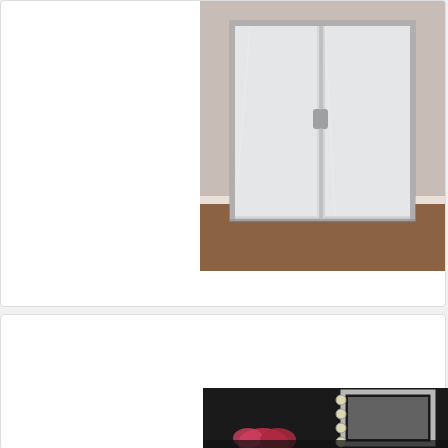[Figure (photo): Top product listing card showing a mirrored wardrobe/furniture item in a room setting. White card with product image on the right showing silver mirrored panels in a beige/wood room.]
£2
Carme Home - Halle Silver
D
[Figure (photo): Bottom product listing card showing a Hollywood-style mirror with LED bulbs around the frame, set against a dark background with flowers visible. Price shown as £2...]